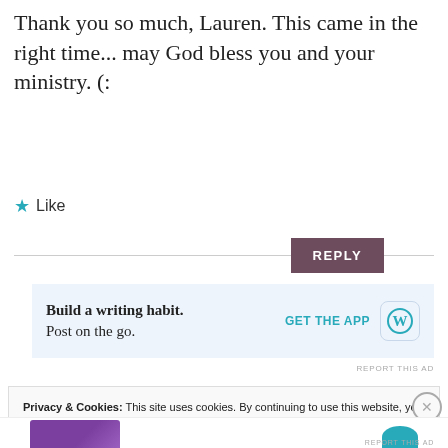Thank you so much, Lauren. This came in the right time... may God bless you and your ministry. (:
★ Like
REPLY
[Figure (infographic): WordPress app ad banner: 'Build a writing habit. Post on the go.' with GET THE APP link and WordPress icon]
REPORT THIS AD
Privacy & Cookies: This site uses cookies. By continuing to use this website, you agree to their use.
To find out more, including how to control cookies, see here:
Cookie Policy
Close and accept